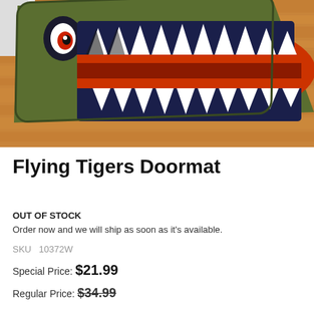[Figure (photo): A Flying Tigers doormat with shark mouth design in olive green, navy, white, and orange/red colors, placed on a wooden floor. The mat features a stylized open shark/tiger mouth with sharp teeth and an eye visible.]
Flying Tigers Doormat
OUT OF STOCK
Order now and we will ship as soon as it's available.
SKU  10372W
Special Price: $21.99
Regular Price: $34.99